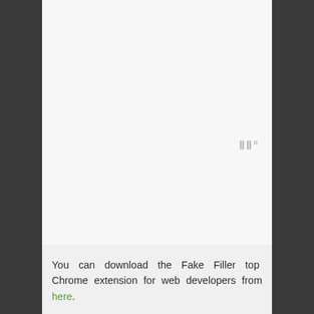[Figure (screenshot): Large white/light grey blank area representing a browser or application screenshot area with a small watermark logo in the bottom right corner]
You can download the Fake Filler top Chrome extension for web developers from here.